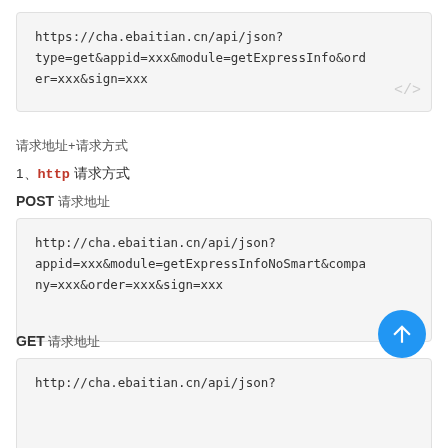[Figure (screenshot): Code block showing GET URL: https://cha.ebaitian.cn/api/json?type=get&appid=xxx&module=getExpressInfo&order=xxx&sign=xxx]
请求地址+请求方式
1、http 请求方式
POST 请求地址
[Figure (screenshot): Code block showing POST URL: http://cha.ebaitian.cn/api/json?appid=xxx&module=getExpressInfoNoSmart&company=xxx&order=xxx&sign=xxx]
GET 请求地址
[Figure (screenshot): Code block showing GET URL: http://cha.ebaitian.cn/api/json?]